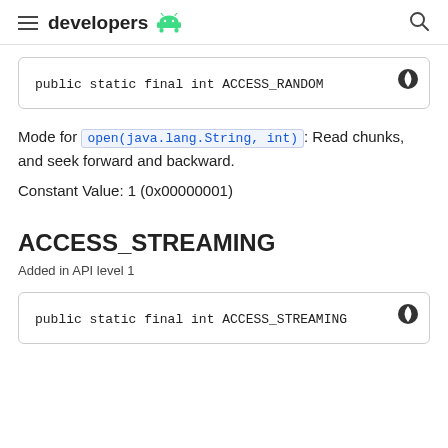developers
public static final int ACCESS_RANDOM
Mode for open(java.lang.String, int): Read chunks, and seek forward and backward.
Constant Value: 1 (0x00000001)
ACCESS_STREAMING
Added in API level 1
public static final int ACCESS_STREAMING